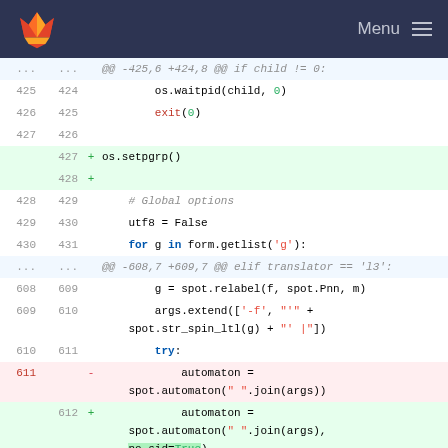[Figure (screenshot): GitLab navigation header with fox logo and Menu button]
... ... @@ -425,6 +424,8 @@ if child != 0:
425  424      os.waitpid(child, 0)
426  425      exit(0)
427  426
+ 427  + os.setpgrp()
+ 428  +
428  429      # Global options
429  430      utf8 = False
430  431      for g in form.getlist('g'):
... ... @@ -608,7 +609,7 @@ elif translator == 'l3':
608  609          g = spot.relabel(f, spot.Pnn, m)
609  610          args.extend(['-f', "'" + spot.str_spin_ltl(g) + "' |"])
610  611          try:
- 611              automaton = spot.automaton(" ".join(args))
+ 612              automaton = spot.automaton(" ".join(args), no_sid=True)